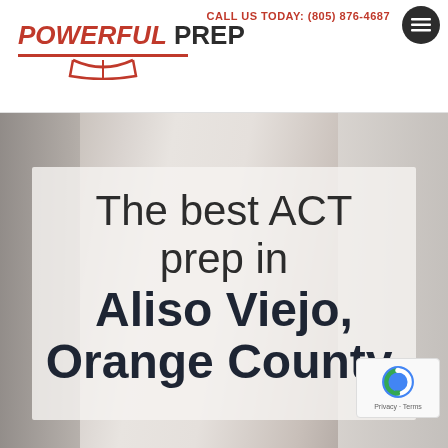CALL US TODAY: (805) 876-4687
[Figure (logo): Powerful Prep logo with red italic 'POWERFUL' and dark 'PREP' text, with a red open-book underline graphic]
[Figure (photo): Hero image showing two people (tutor and student) in a consultation setting, with a semi-transparent overlay box containing headline text]
The best ACT prep in Aliso Viejo, Orange County,